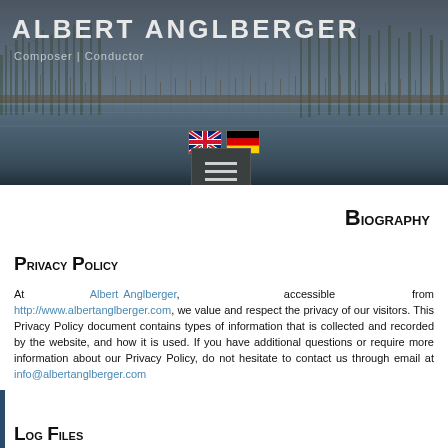Albert Anglberger — Composer | Conductor
[Figure (photo): Winter landscape header banner with frosted trees reflected in water, dark blue-grey tones]
Biography
Privacy Policy
At Albert Anglberger, accessible from http://www.albertanglberger.com, we value and respect the privacy of our visitors. This Privacy Policy document contains types of information that is collected and recorded by the website, and how it is used. If you have additional questions or require more information about our Privacy Policy, do not hesitate to contact us through email at info@albertanglberger.com
Log Files
Albert Anglberger follows a standard procedure of using log files.